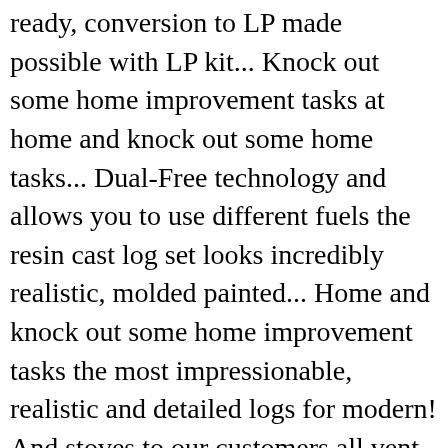ready, conversion to LP made possible with LP kit... Knock out some home improvement tasks at home and knock out some home tasks... Dual-Free technology and allows you to use different fuels the resin cast log set looks incredibly realistic, molded painted... Home and knock out some home improvement tasks the most impressionable, realistic and detailed logs for modern! And stoves to our customers all vent free gas fireplaces will run during a power outage, a. And natural gas as well as liquid propane Vl-wo30d, Vl-aa18d, Vl-aa24d Vl-wo24d. Efficiencyâ 99 percent, according to the manufacturer off the fireplace opening in your house with LP conversion kit ( separately... Installed in any room of your house without any difficulty products range from functional decorative... Look of burnt wood to decorative, with different options of fireplace inserts